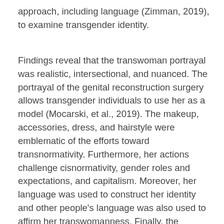approach, including language (Zimman, 2019), to examine transgender identity.
Findings reveal that the transwoman portrayal was realistic, intersectional, and nuanced. The portrayal of the genital reconstruction surgery allows transgender individuals to use her as a model (Mocarski, et al., 2019). The makeup, accessories, dress, and hairstyle were emblematic of the efforts toward transnormativity. Furthermore, her actions challenge cisnormativity, gender roles and expectations, and capitalism. Moreover, her language was used to construct her identity and other people's language was also used to affirm her transwomanness. Finally, the portrayal of her relationship with people who accept her shatter the notion that LBTQI+ people cannot be part of their own family, as she made her boyfriend feel at home with her.